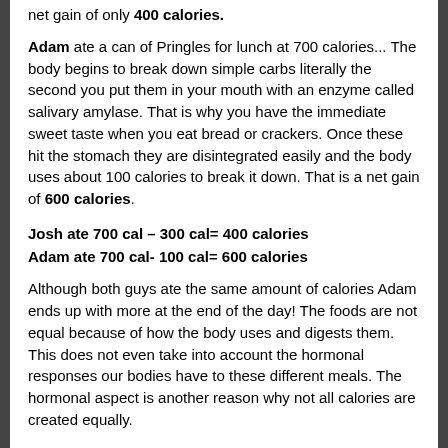net gain of only 400 calories.
Adam ate a can of Pringles for lunch at 700 calories... The body begins to break down simple carbs literally the second you put them in your mouth with an enzyme called salivary amylase. That is why you have the immediate sweet taste when you eat bread or crackers. Once these hit the stomach they are disintegrated easily and the body uses about 100 calories to break it down. That is a net gain of 600 calories.
Josh ate 700 cal – 300 cal= 400 calories
Adam ate 700 cal- 100 cal= 600 calories
Although both guys ate the same amount of calories Adam ends up with more at the end of the day! The foods are not equal because of how the body uses and digests them. This does not even take into account the hormonal responses our bodies have to these different meals. The hormonal aspect is another reason why not all calories are created equally.
Are 20g of carbs from M&M's and 20 g of carbs from